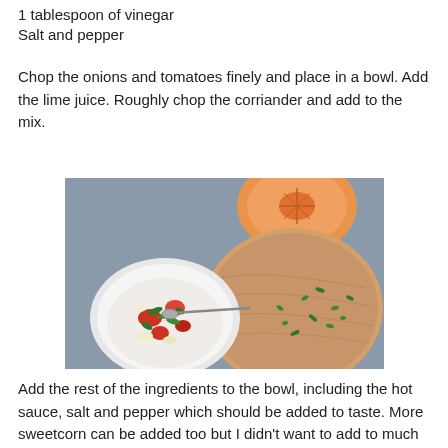1 tablespoon of vinegar
Salt and pepper
Chop the onions and tomatoes finely and place in a bowl. Add the lime juice. Roughly chop the corriander and add to the mix.
[Figure (photo): Photo showing a white bowl filled with chopped tomatoes, onions, and coriander with a spoon, next to a round wooden cutting board with chopped coriander, and an orange citrus juicer in the background on a grey surface.]
Add the rest of the ingredients to the bowl, including the hot sauce, salt and pepper which should be added to taste. More sweetcorn can be added too but I didn't want to add to much